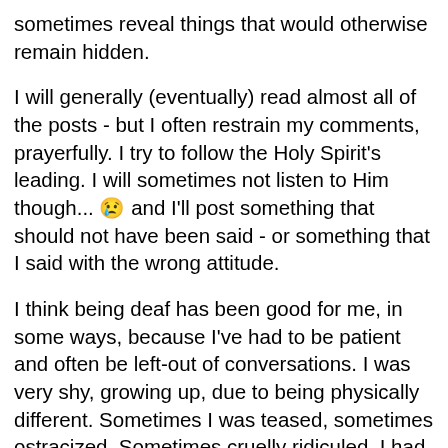sometimes reveal things that would otherwise remain hidden.
I will generally (eventually) read almost all of the posts - but I often restrain my comments, prayerfully. I try to follow the Holy Spirit's leading. I will sometimes not listen to Him though... 😢 and I'll post something that should not have been said - or something that I said with the wrong attitude.
I think being deaf has been good for me, in some ways, because I've had to be patient and often be left-out of conversations. I was very shy, growing up, due to being physically different. Sometimes I was teased, sometimes ostracized. Sometimes cruelly ridiculed. I had to learn not to take those arrows and slingshots personally. Even as an adult, I stand only 3'9" tall and, due to that, am very visibly different. And then, becoming deaf, it was very, very difficult for me to feel "left out." Sometimes I took it wrongly, as being rejected or as my opinion "not counting."
In a group, when asking what was being said, sometimes my question was met with barely-contained impatience, along with the comment: "I'll tell you later." Or "It's not important." Or "It doesn't concern you." So, I may sometimes be clueless about what is going on around me. Sometimes I feel that is a blessing. I'm able to avoid...